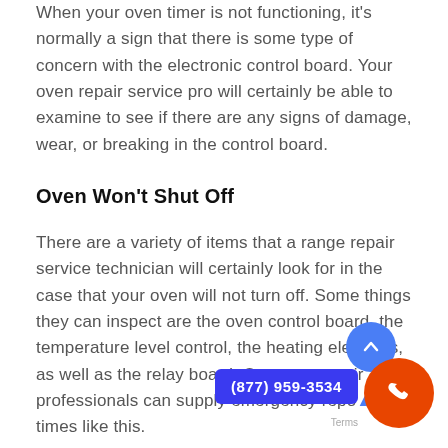When your oven timer is not functioning, it's normally a sign that there is some type of concern with the electronic control board. Your oven repair service pro will certainly be able to examine to see if there are any signs of damage, wear, or breaking in the control board.
Oven Won't Shut Off
There are a variety of items that a range repair service technician will certainly look for in the case that your oven will not turn off. Some things they can inspect are the oven control board, the temperature level control, the heating elements, as well as the relay board. Our oven repair professionals can supply emergency repo... for times like this.